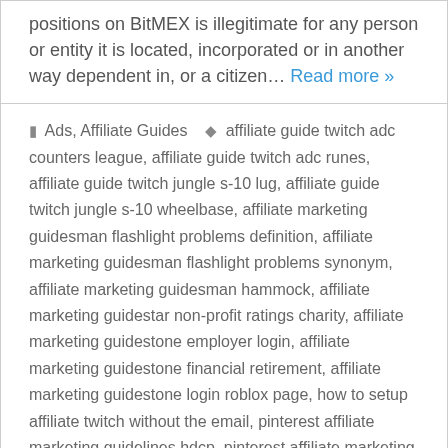positions on BitMEX is illegitimate for any person or entity it is located, incorporated or in another way dependent in, or a citizen… Read more »
Ads, Affiliate Guides  affiliate guide twitch adc counters league, affiliate guide twitch adc runes, affiliate guide twitch jungle s-10 lug, affiliate guide twitch jungle s-10 wheelbase, affiliate marketing guidesman flashlight problems definition, affiliate marketing guidesman flashlight problems synonym, affiliate marketing guidesman hammock, affiliate marketing guidestar non-profit ratings charity, affiliate marketing guidestone employer login, affiliate marketing guidestone financial retirement, affiliate marketing guidestone login roblox page, how to setup affiliate twitch without the email, pinterest affiliate marketing guidelines hdcp, pinterest affiliate marketing guidelines hdcp support